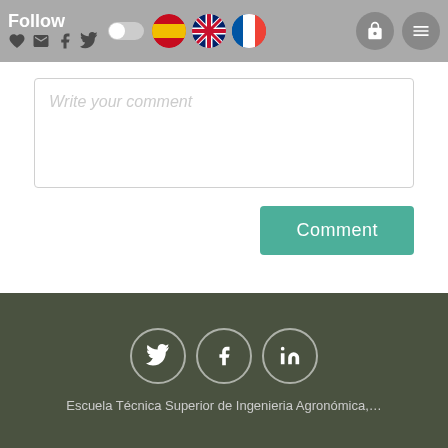Follow
[Figure (screenshot): Website comment input box with placeholder text 'Write your comment']
Comment
Escuela Técnica Superior de Ingenieria Agronómica,…